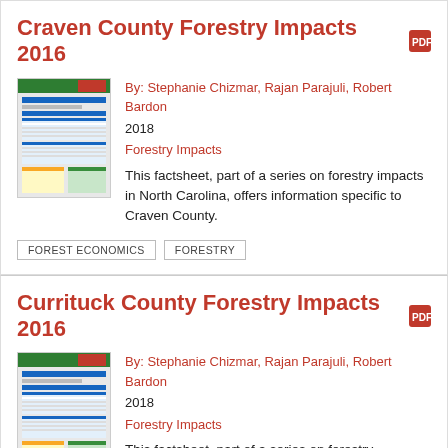Craven County Forestry Impacts 2016
By: Stephanie Chizmar, Rajan Parajuli, Robert Bardon
2018
Forestry Impacts
This factsheet, part of a series on forestry impacts in North Carolina, offers information specific to Craven County.
FOREST ECONOMICS
FORESTRY
Currituck County Forestry Impacts 2016
By: Stephanie Chizmar, Rajan Parajuli, Robert Bardon
2018
Forestry Impacts
This factsheet, part of a series on forestry